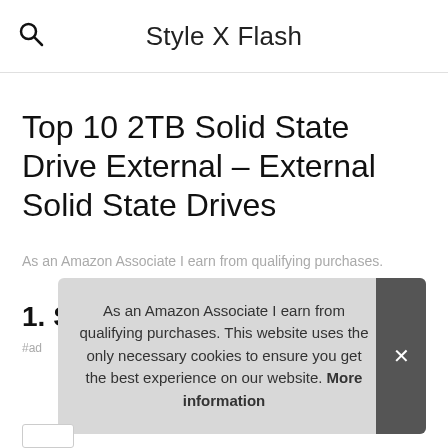Style X Flash
Top 10 2TB Solid State Drive External – External Solid State Drives
As an Amazon Associate I earn from qualifying purchases.
1. Samsung Electronics
#ad
As an Amazon Associate I earn from qualifying purchases. This website uses the only necessary cookies to ensure you get the best experience on our website. More information